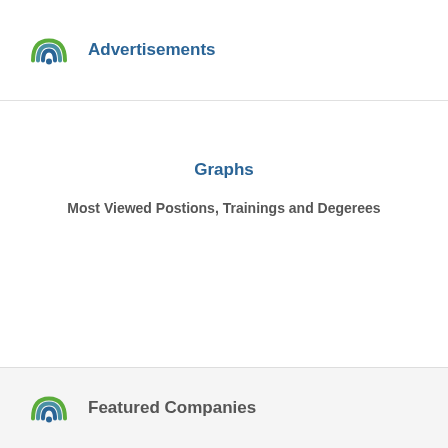Advertisements
Graphs
Most Viewed Postions, Trainings and Degerees
Featured Companies